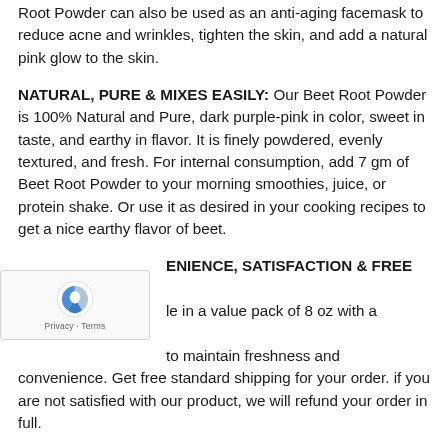Root Powder can also be used as an anti-aging facemask to reduce acne and wrinkles, tighten the skin, and add a natural pink glow to the skin.
NATURAL, PURE & MIXES EASILY: Our Beet Root Powder is 100% Natural and Pure, dark purple-pink in color, sweet in taste, and earthy in flavor. It is finely powdered, evenly textured, and fresh. For internal consumption, add 7 gm of Beet Root Powder to your morning smoothies, juice, or protein shake. Or use it as desired in your cooking recipes to get a nice earthy flavor of beet.
CONVENIENCE, SATISFACTION & FREE SHIPPING: Available in a value pack of 8 oz with a RESEALABLE zip to maintain freshness and convenience. Get free standard shipping for your order. if you are not satisfied with our product, we will refund your order in full.